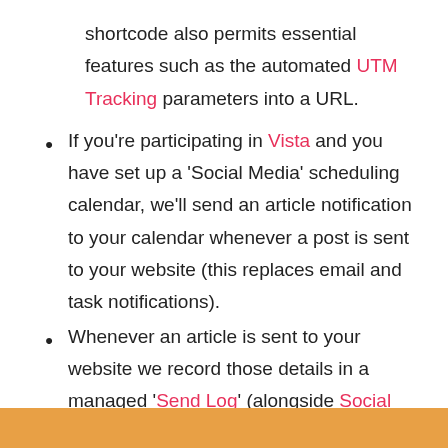shortcode also permits essential features such as the automated UTM Tracking parameters into a URL.
If you're participating in Vista and you have set up a 'Social Media' scheduling calendar, we'll send an article notification to your calendar whenever a post is sent to your website (this replaces email and task notifications).
Whenever an article is sent to your website we record those details in a managed 'Send Log' (alongside Social Content, Video Content, and posts).
When sending to partner websites, those